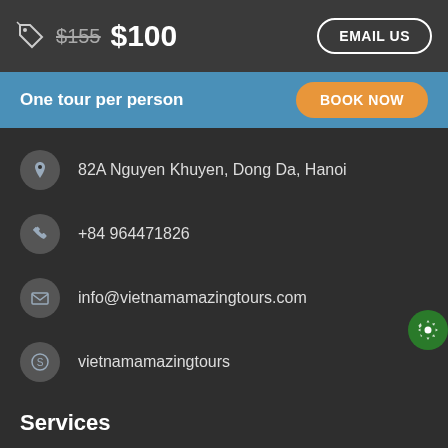$155  $100  EMAIL US
One tour per person  BOOK NOW
82A Nguyen Khuyen, Dong Da, Hanoi
+84 964471826
info@vietnamamazingtours.com
vietnamamazingtours
Services
Unique Gallery
Knowledge
Travel experiences